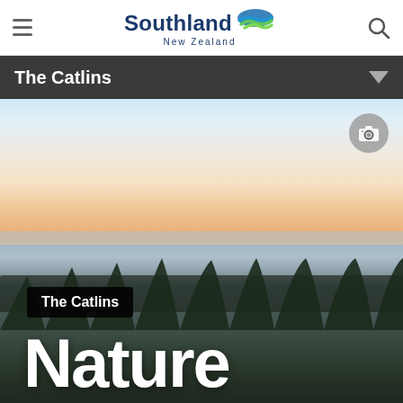Southland New Zealand
The Catlins
[Figure (photo): Panoramic dawn landscape photo of The Catlins, New Zealand: misty wetland/estuary under a soft pink-orange sunrise sky, reed beds and dark vegetation in foreground silhouette, mist hanging low over the water and marsh.]
The Catlins
Nature